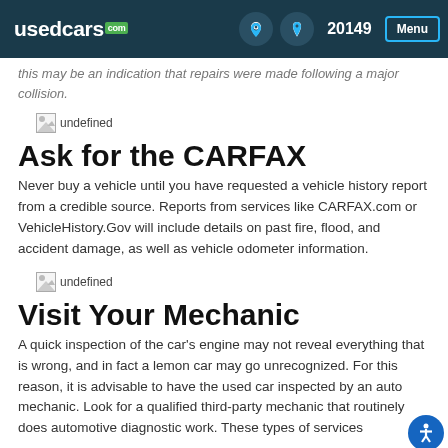usedcars.com | 20149 | Menu
this may be an indication that repairs were made following a major collision.
[Figure (illustration): Broken image placeholder labeled 'undefined']
Ask for the CARFAX
Never buy a vehicle until you have requested a vehicle history report from a credible source. Reports from services like CARFAX.com or VehicleHistory.Gov will include details on past fire, flood, and accident damage, as well as vehicle odometer information.
[Figure (illustration): Broken image placeholder labeled 'undefined']
Visit Your Mechanic
A quick inspection of the car's engine may not reveal everything that is wrong, and in fact a lemon car may go unrecognized. For this reason, it is advisable to have the used car inspected by an auto mechanic. Look for a qualified third-party mechanic that routinely does automotive diagnostic work. These types of services